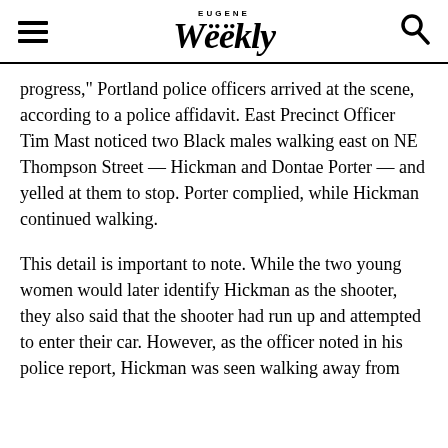EUGENE Weekly
progress," Portland police officers arrived at the scene, according to a police affidavit. East Precinct Officer Tim Mast noticed two Black males walking east on NE Thompson Street — Hickman and Dontae Porter — and yelled at them to stop. Porter complied, while Hickman continued walking.
This detail is important to note. While the two young women would later identify Hickman as the shooter, they also said that the shooter had run up and attempted to enter their car. However, as the officer noted in his police report, Hickman was seen walking away from